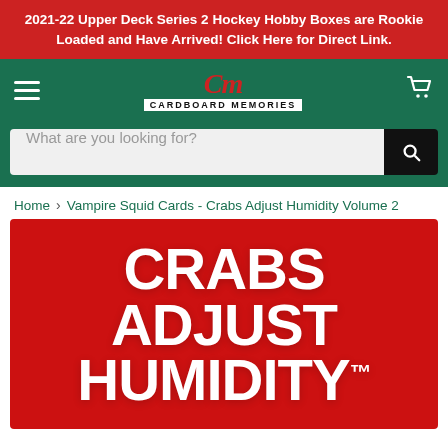2021-22 Upper Deck Series 2 Hockey Hobby Boxes are Rookie Loaded and Have Arrived! Click Here for Direct Link.
[Figure (logo): Cardboard Memories logo with stylized CM script in red and 'CARDBOARD MEMORIES' text below]
What are you looking for?
Home > Vampire Squid Cards - Crabs Adjust Humidity Volume 2
[Figure (photo): Red product box with white bold text reading CRABS ADJUST HUMIDITY with trademark symbol]